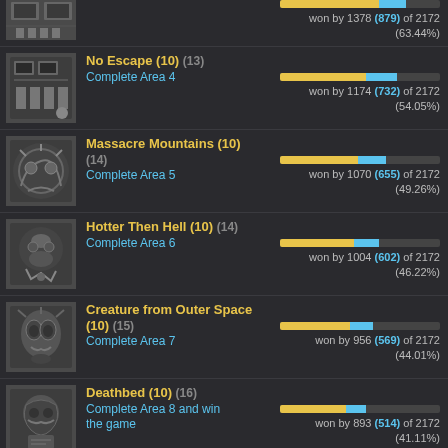won by 1378 (879) of 2172 (63.44%)
No Escape (10) (13) - Complete Area 4 - won by 1174 (732) of 2172 (54.05%)
Massacre Mountains (10) (14) - Complete Area 5 - won by 1070 (655) of 2172 (49.26%)
Hotter Then Hell (10) (14) - Complete Area 6 - won by 1004 (602) of 2172 (46.22%)
Creature from Outer Space (10) (15) - Complete Area 7 - won by 956 (569) of 2172 (44.01%)
Deathbed (10) (16) - Complete Area 8 and win the game - won by 893 (514) of 2172 (41.11%)
Thunder Landing (Hero) (10) (11) - Beat Stage 1 without dying (1P Solo) - won by 1318 (887) of 2172 (60.68%)